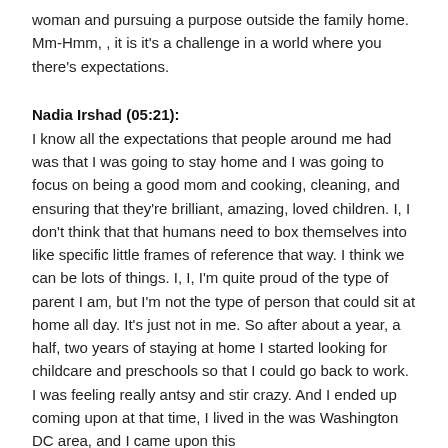woman and pursuing a purpose outside the family home. Mm-Hmm, , it is it's a challenge in a world where you there's expectations.
Nadia Irshad (05:21):
I know all the expectations that people around me had was that I was going to stay home and I was going to focus on being a good mom and cooking, cleaning, and ensuring that they're brilliant, amazing, loved children. I, I don't think that that humans need to box themselves into like specific little frames of reference that way. I think we can be lots of things. I, I, I'm quite proud of the type of parent I am, but I'm not the type of person that could sit at home all day. It's just not in me. So after about a year, a half, two years of staying at home I started looking for childcare and preschools so that I could go back to work. I was feeling really antsy and stir crazy. And I ended up coming upon at that time, I lived in the was Washington DC area, and I came upon this